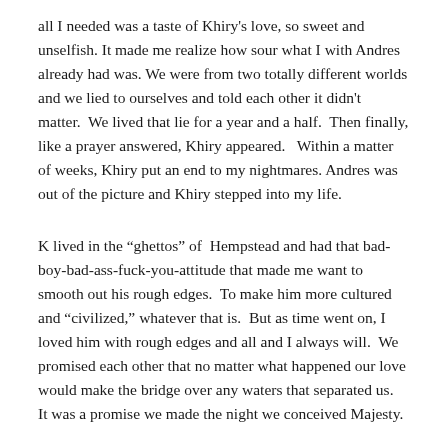all I needed was a taste of Khiry's love, so sweet and unselfish. It made me realize how sour what I with Andres already had was. We were from two totally different worlds and we lied to ourselves and told each other it didn't matter.  We lived that lie for a year and a half.  Then finally, like a prayer answered, Khiry appeared.   Within a matter of weeks, Khiry put an end to my nightmares. Andres was out of the picture and Khiry stepped into my life.
K lived in the “ghettos” of  Hempstead and had that bad-boy-bad-ass-fuck-you-attitude that made me want to smooth out his rough edges.  To make him more cultured and “civilized,” whatever that is.  But as time went on, I loved him with rough edges and all and I always will.  We promised each other that no matter what happened our love would make the bridge over any waters that separated us.    It was a promise we made the night we conceived Majesty.